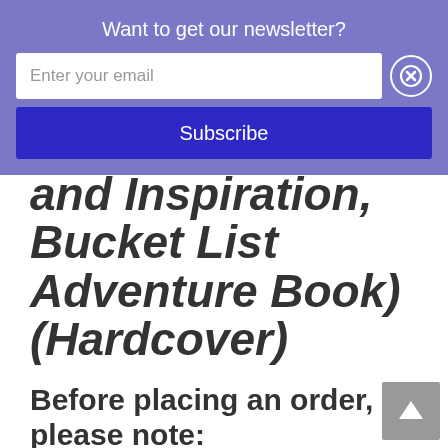Want to get our newsletter?
Enter your email
Subscribe
and Inspiration, Bucket List Adventure Book) (Hardcover)
Before placing an order, please note:
You'll receive a confirmation email once your order is complete and ready for pickup.
If you place a pre-order in the same order as currently available titles, an additional shipping fee will be added to your order.
Women & Children First is not responsible for lost or...